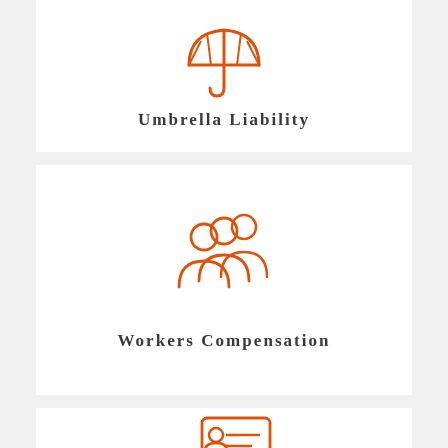[Figure (illustration): Orange outline umbrella icon representing Umbrella Liability insurance]
Umbrella Liability
[Figure (illustration): Orange outline group of three people icon representing Workers Compensation insurance]
Workers Compensation
[Figure (illustration): Orange outline person with ID card icon representing another insurance type]